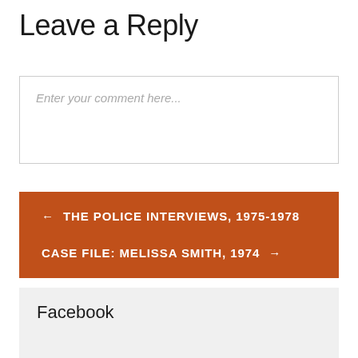Leave a Reply
Enter your comment here...
← THE POLICE INTERVIEWS, 1975-1978
CASE FILE: MELISSA SMITH, 1974 →
Facebook